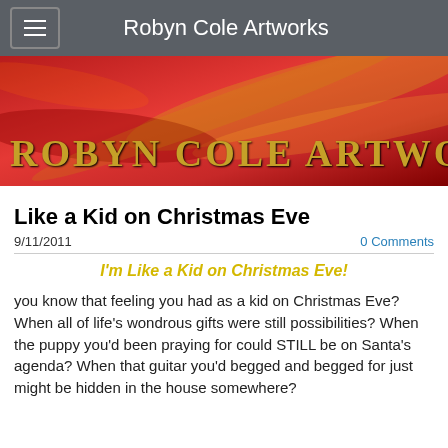Robyn Cole Artworks
[Figure (illustration): Red and gold painted abstract banner with text 'ROBYN COLE ARTWORKS' in large serif gold letters]
Like a Kid on Christmas Eve
9/11/2011
0 Comments
I'm Like a Kid on Christmas Eve!
you know that feeling you had as a kid on Christmas Eve? When all of life's wondrous gifts were still possibilities? When the puppy you'd been praying for could STILL be on Santa's agenda? When that guitar you'd begged and begged for just might be hidden in the house somewhere?